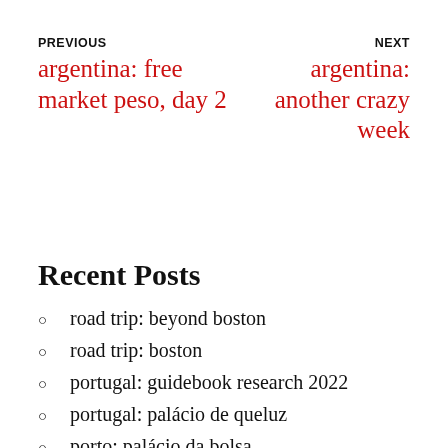PREVIOUS
argentina: free market peso, day 2
NEXT
argentina: another crazy week
Recent Posts
road trip: beyond boston
road trip: boston
portugal: guidebook research 2022
portugal: palácio de queluz
porto: palácio da bolsa